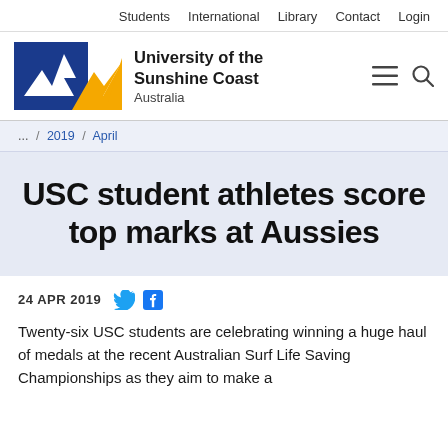Students  International  Library  Contact  Login
[Figure (logo): University of the Sunshine Coast Australia logo with blue and yellow angular shapes]
University of the Sunshine Coast Australia
... / 2019 / April
USC student athletes score top marks at Aussies
24 APR 2019
Twenty-six USC students are celebrating winning a huge haul of medals at the recent Australian Surf Life Saving Championships as they aim to make a